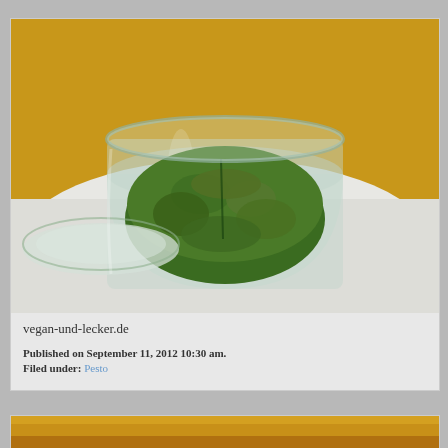[Figure (photo): A glass jar filled with green pesto, lid placed beside it on a white plate, with a yellow tablecloth in background]
vegan-und-lecker.de
Published on September 11, 2012 10:30 am.
Filed under: Pesto
[Figure (photo): Bottom of another food photo, partially visible, yellow/orange background]